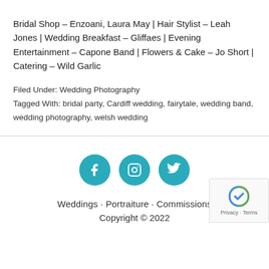Bridal Shop – Enzoani, Laura May | Hair Stylist – Leah Jones | Wedding Breakfast – Gliffaes | Evening Entertainment – Capone Band | Flowers & Cake – Jo Short | Catering – Wild Garlic
Filed Under: Wedding Photography
Tagged With: bridal party, Cardiff wedding, fairytale, wedding band, wedding photography, welsh wedding
Weddings · Portraiture · Commissions
Copyright © 2022